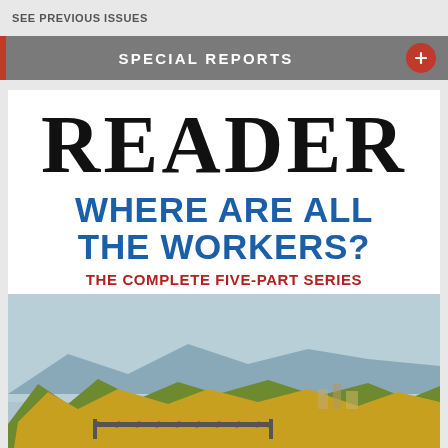SEE PREVIOUS ISSUES
SPECIAL REPORTS
[Figure (photo): Magazine cover for 'READER' with headline 'WHERE ARE ALL THE WORKERS? The Complete Five-Part Series' and a landscape photo of a river valley with autumn trees and a bridge.]